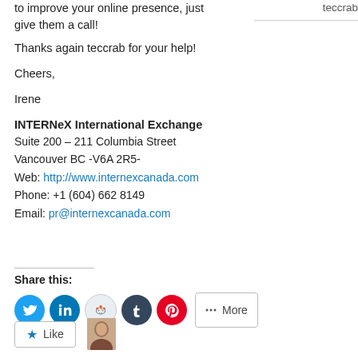to improve your online presence, just give them a call!
teccrab
Thanks again teccrab for your help!
Cheers,
Irene
INTERNeX International Exchange
Suite 200 – 211 Columbia Street
Vancouver BC -V6A 2R5-
Web: http://www.internexcanada.com
Phone: +1 (604) 662 8149
Email: pr@internexcanada.com
Share this:
[Figure (illustration): Social sharing buttons: Twitter, LinkedIn, Reddit, Tumblr, Pinterest, and More button]
[Figure (photo): Like button with star icon and user avatar thumbnail]